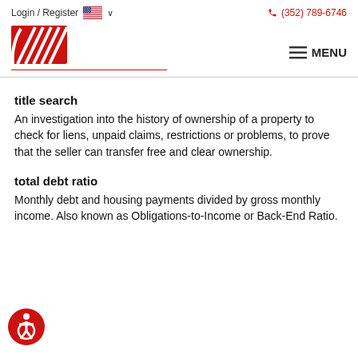Login / Register  🇺🇸 ∨    (352) 789-6746
[Figure (logo): Red and white logo with diagonal lines, resembling a speedway or track brand]
title search
An investigation into the history of ownership of a property to check for liens, unpaid claims, restrictions or problems, to prove that the seller can transfer free and clear ownership.
total debt ratio
Monthly debt and housing payments divided by gross monthly income. Also known as Obligations-to-Income or Back-End Ratio.